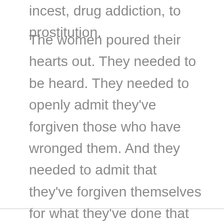incest, drug addiction, to prostitution.
The women poured their hearts out. They needed to be heard. They needed to openly admit they've forgiven those who have wronged them. And they needed to admit that they've forgiven themselves for what they've done that landed them in prison – or they admitted their struggle of forgiving themselves.